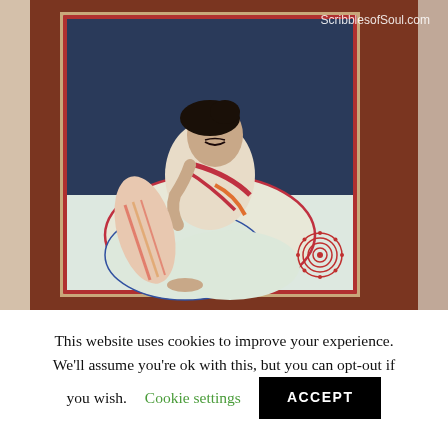[Figure (illustration): Book cover photograph showing an Indian art style illustration of a seated woman in white garments with red accents, bowing her head, against a dark blue background. The book has a dark reddish-brown textured cover. A spiral/target-style red logo appears in the lower right of the book cover. Watermark 'ScribblesofSoul.com' appears in the upper right.]
This website uses cookies to improve your experience. We'll assume you're ok with this, but you can opt-out if you wish. Cookie settings ACCEPT